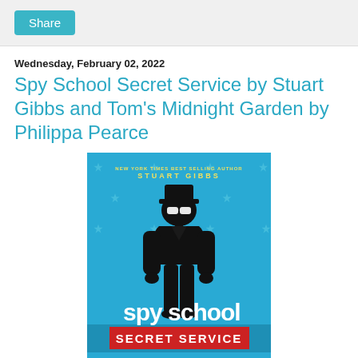Share
Wednesday, February 02, 2022
Spy School Secret Service by Stuart Gibbs and Tom's Midnight Garden by Philippa Pearce
[Figure (photo): Book cover of 'Spy School Secret Service' by Stuart Gibbs. Blue background with stars, silhouette of a spy figure wearing a hat and sunglasses. Text reads 'spy school' in white and 'SECRET SERVICE' on a red banner. Author name STUART GIBBS at top.]